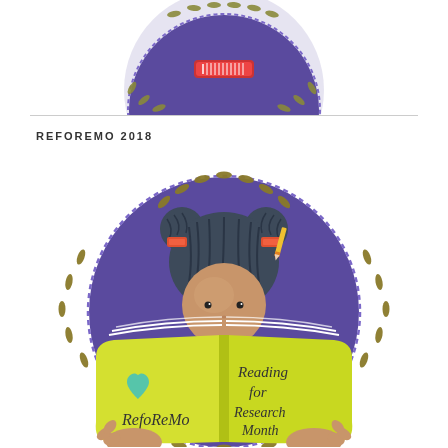[Figure (illustration): Partial top of a circular REFOREMO logo illustration showing a girl reading a book, with purple circle background and leaf wreath border, cropped at top]
REFOREMO 2018
[Figure (illustration): Girl with dark hair in two buns secured with red clips and pencils, reading an open yellow book. Left page shows a teal heart and text 'RefoReMo'. Right page shows text 'Reading for Research Month'. Background is a purple circle with a dashed border and olive green leaf wreath surrounding the circle.]